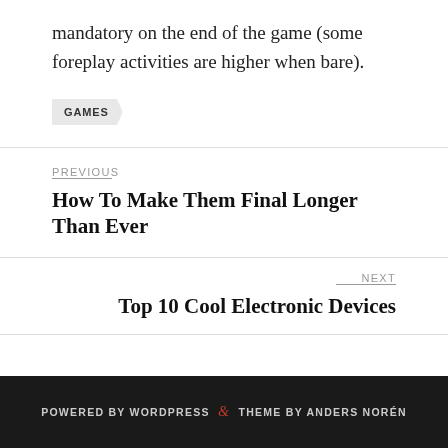mandatory on the end of the game (some foreplay activities are higher when bare).
GAMES
PREVIOUS
How To Make Them Final Longer Than Ever
NEXT
Top 10 Cool Electronic Devices
POWERED BY WORDPRESS & THEME BY ANDERS NORÉN